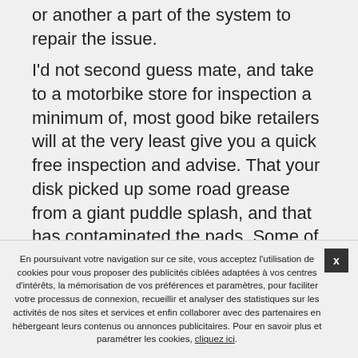They might lubricate altering out the pads, the pistons, or another a part of the system to repair the issue. I'd not second guess mate, and take to a motorbike store for inspection a minimum of, most good bike retailers will at the very least give you a quick free inspection and advise. That your disk picked up some road grease from a giant puddle splash, and that has contaminated the pads. Some of the fundamental causes is that the metallic rotor can vibrate when the brake pads squeeze together and this will make the squeaky sound. As a novice converse with knowledgeable folks, like your native bike shop, about the perfect places for you to ride. Path and street situations in the Bay Space can change very rapidly from one curve to the subsequent. Before
En poursuivant votre navigation sur ce site, vous acceptez l'utilisation de cookies pour vous proposer des publicités ciblées adaptées à vos centres d'intérêts, la mémorisation de vos préférences et paramètres, pour faciliter votre processus de connexion, recueillir et analyser des statistiques sur les activités de nos sites et services et enfin collaborer avec des partenaires en hébergeant leurs contenus ou annonces publicitaires. Pour en savoir plus et paramétrer les cookies, cliquez ici.